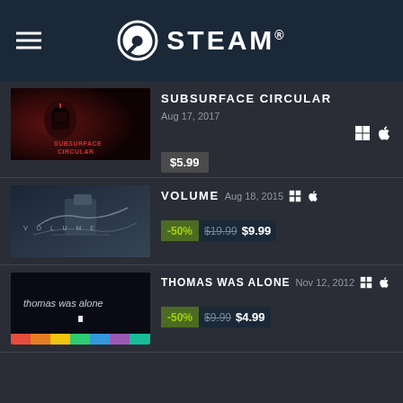STEAM
SUBSURFACE CIRCULAR Aug 17, 2017 $5.99
VOLUME Aug 18, 2015 -50% $19.99 $9.99
THOMAS WAS ALONE Nov 12, 2012 -50% $9.99 $4.99